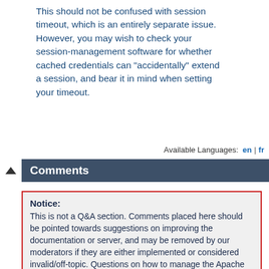This should not be confused with session timeout, which is an entirely separate issue. However, you may wish to check your session-management software for whether cached credentials can "accidentally" extend a session, and bear it in mind when setting your timeout.
Available Languages: en | fr
Comments
Notice: This is not a Q&A section. Comments placed here should be pointed towards suggestions on improving the documentation or server, and may be removed by our moderators if they are either implemented or considered invalid/off-topic. Questions on how to manage the Apache HTTP